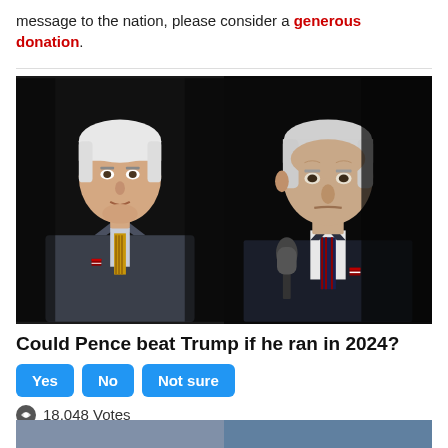message to the nation, please consider a generous donation.
[Figure (photo): Side-by-side photo composite of Mike Pence (left) and Joe Biden (right) against dark backgrounds]
Could Pence beat Trump if he ran in 2024?
Yes
No
Not sure
18,048 Votes